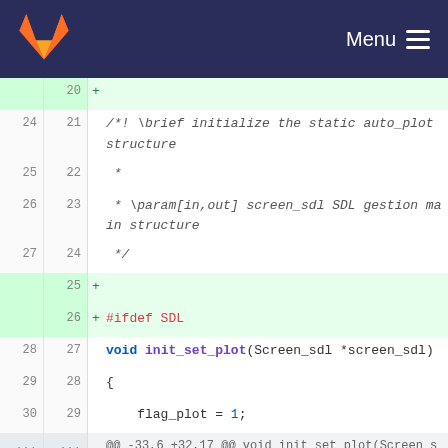GitLab — Menu
[Figure (screenshot): GitLab code diff view showing C source file changes. Lines 24-35 (old) / 21-34 (new) are visible. Added lines include '#ifdef SDL' preprocessor directive. Code shows init_set_plot function declaration with Screen_sdl struct, flag_plot assignment, and screen_sdl->auto_plot assignment. A hunk header shows @@ -33,6 +32,17 @@ void init_set_plot(Screen_sdl *screen_sdl)]